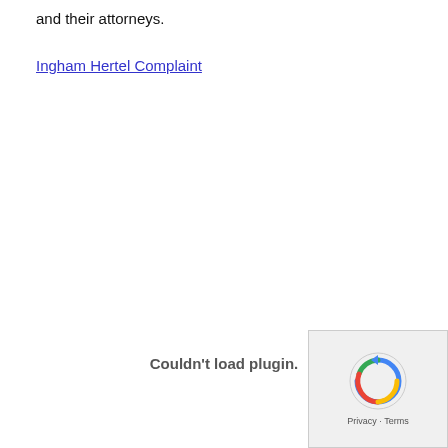and their attorneys.
Ingham Hertel Complaint
Couldn't load plugin.